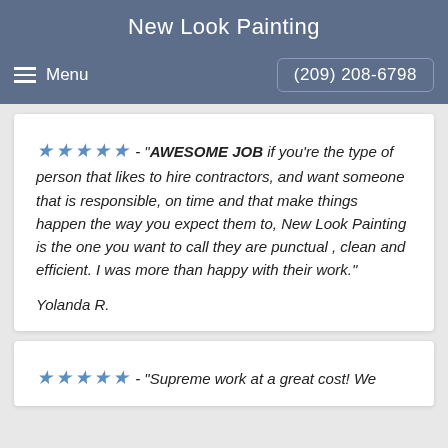New Look Painting
Menu  (209) 208-6798
★★★★★ - "AWESOME JOB if you're the type of person that likes to hire contractors, and want someone that is responsible, on time and that make things happen the way you expect them to, New Look Painting is the one you want to call they are punctual , clean and efficient. I was more than happy with their work."

Yolanda R.
★★★★★ - "Supreme work at a great cost! We